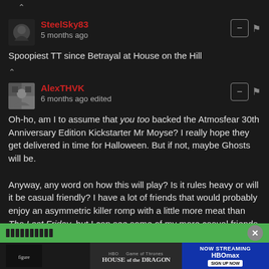^
SteelSky83 · 5 months ago
Spoopiest TT since Betrayal at House on the Hill
^
AlexTHVK · 6 months ago edited
Oh-ho, am I to assume that you too backed the Atmosfear 30th Anniversary Edition Kickstarter Mr Moyse? I really hope they get delivered in time for Halloween. But if not, maybe Ghosts will be.

Anyway, any word on how this will play? Is it rules heavy or will it be casual friendly? I have a lot of friends that would probably enjoy an asymmetric killer romp with a little more meat than The Last Friday, but I can see some of my more casual friends being intimidated by all the cards, counters and tokens shown in the picture. While I love t...mula with b...
[Figure (screenshot): Green advertisement bar with close button and House of the Dragon / HBO Max ad overlay at bottom of page]